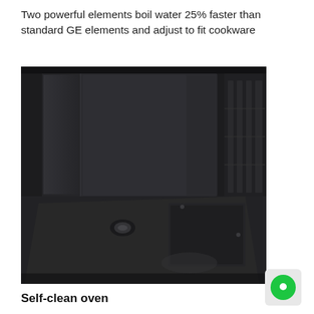Two powerful elements boil water 25% faster than standard GE elements and adjust to fit cookware
[Figure (photo): Close-up interior view of a dark oven cavity showing the oven floor, back wall, and side rack rails, all in dark/black finish]
Self-clean oven